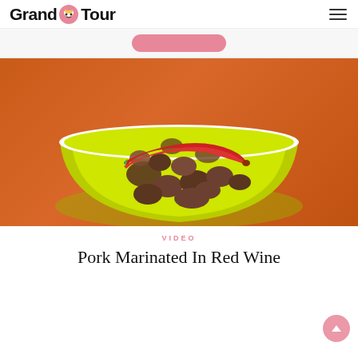Grand Tour
[Figure (photo): A yellow-green bowl filled with pork marinated in red wine, topped with a red chili pepper, on an orange textured background]
VIDEO
Pork Marinated In Red Wine